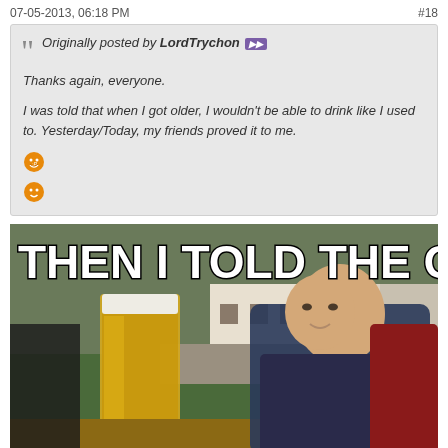07-05-2013, 06:18 PM    #18
Originally posted by LordTrychon [view post button]
Thanks again, everyone.

I was told that when I got older, I wouldn't be able to drink like I used to. Yesterday/Today, my friends proved it to me.
[emoji1] [emoji2]
[Figure (photo): Meme image of a baby sitting at a pub table with a large pint of beer, text overlay reads THEN I TOLD THE OFFICER]